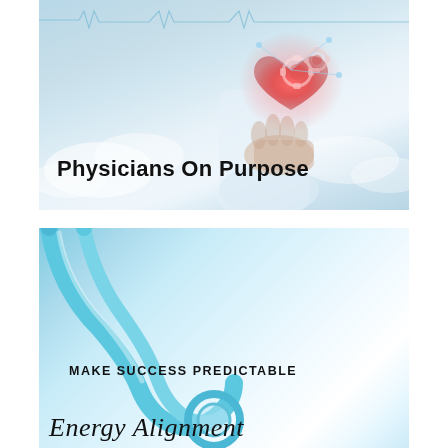[Figure (illustration): Medical image of a hand holding a glowing red heart with gear/cog overlays, set against a light blue sky and cloud background with an ECG line at the top. Text overlay reads 'Physicians On Purpose'.]
Physicians On Purpose
[Figure (illustration): Medical image of a stethoscope on a white/light blue background. Text overlay reads 'MAKE SUCCESS PREDICTABLE' and below that 'Energy Alignment' in italic script.]
MAKE SUCCESS PREDICTABLE
Energy Alignment